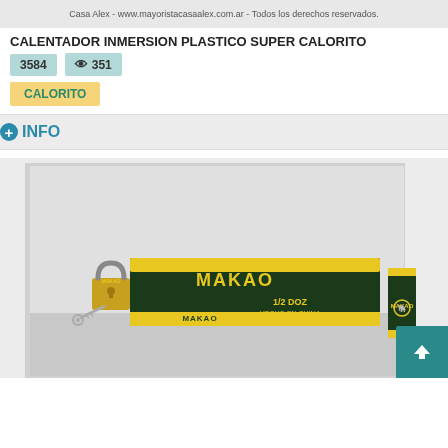Casa Alex - www.mayoristacasaalex.com.ar - Todos los derechos reservados.
CALENTADOR INMERSION PLASTICO SUPER CALORITO
3584  351
CALORITO
+INFO
[Figure (photo): Product photo showing MAKAO brand padlocks - a gold padlock with keys next to green and yellow branded boxes labeled MAKAO 1/2 DOZ, HECHO EN CHINA]